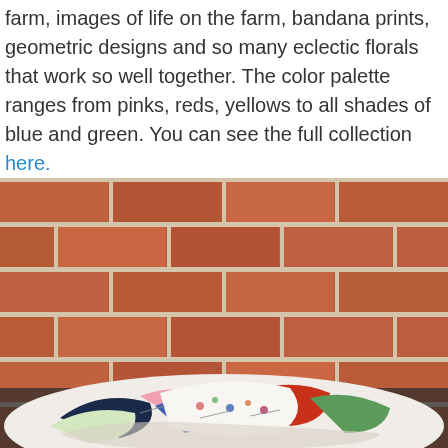farm, images of life on the farm, bandana prints, geometric designs and so many eclectic florals that work so well together. The color palette ranges from pinks, reds, yellows to all shades of blue and green. You can see the full collection here.
[Figure (photo): A colorful patchwork quilt with floral and eclectic prints piled on a dark surface in front of a red brick wall outdoors.]